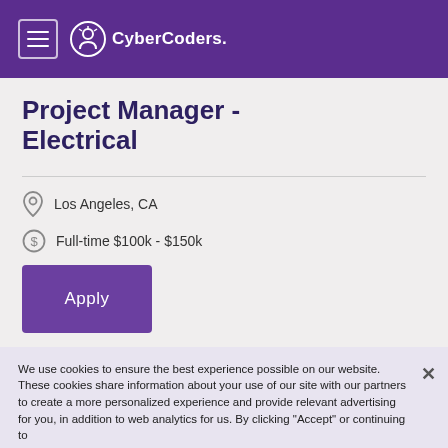CyberCoders
Project Manager - Electrical
Los Angeles, CA
Full-time $100k - $150k
Apply
We use cookies to ensure the best experience possible on our website. These cookies share information about your use of our site with our partners to create a more personalized experience and provide relevant advertising for you, in addition to web analytics for us. By clicking “Accept” or continuing to